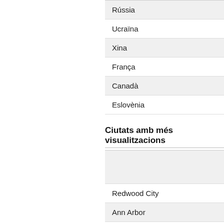| Rússia |
| Ucraïna |
| Xina |
| França |
| Canadà |
| Eslovènia |
Ciutats amb més visualitzacions
|  |
| Redwood City |
| Ann Arbor |
| Barcelona |
| Beaverton |
| Oakland |